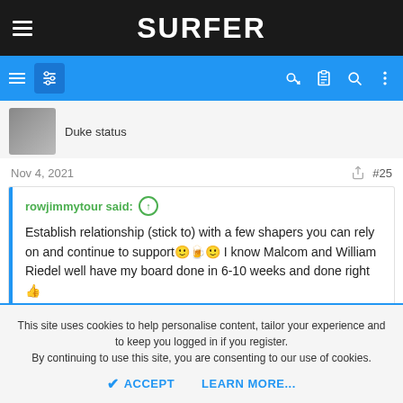SURFER
Duke status
Nov 4, 2021  #25
rowjimmytour said: ↑

Establish relationship (stick to) with a few shapers you can rely on and continue to support🙂🍺🙂 I know Malcom and William Riedel well have my board done in 6-10 weeks and done right👍
This site uses cookies to help personalise content, tailor your experience and to keep you logged in if you register.
By continuing to use this site, you are consenting to our use of cookies.
ACCEPT   LEARN MORE...